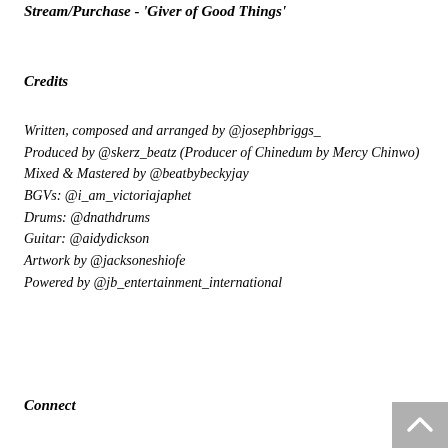Stream/Purchase - 'Giver of Good Things'
Credits
Written, composed and arranged by @josephbriggs_
Produced by @skerz_beatz (Producer of Chinedum by Mercy Chinwo)
Mixed & Mastered by @beatbybeckyjay
BGVs: @i_am_victoriajaphet
Drums: @dnathdrums
Guitar: @aidydickson
Artwork by @jacksoneshiofe
Powered by @jb_entertainment_international
Connect